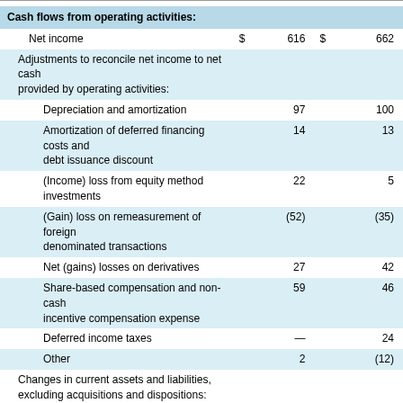|  |  |  |  |  |
| --- | --- | --- | --- | --- |
| Cash flows from operating activities: |  |  |  |  |
| Net income | $ | 616 | $ | 662 |
| Adjustments to reconcile net income to net cash provided by operating activities: |  |  |  |  |
| Depreciation and amortization |  | 97 |  | 100 |
| Amortization of deferred financing costs and debt issuance discount |  | 14 |  | 13 |
| (Income) loss from equity method investments |  | 22 |  | 5 |
| (Gain) loss on remeasurement of foreign denominated transactions |  | (52) |  | (35) |
| Net (gains) losses on derivatives |  | 27 |  | 42 |
| Share-based compensation and non-cash incentive compensation expense |  | 59 |  | 46 |
| Deferred income taxes |  | — |  | 24 |
| Other |  | 2 |  | (12) |
| Changes in current assets and liabilities, excluding acquisitions and dispositions: |  |  |  |  |
| Accounts and notes receivable |  | 4 |  | 17 |
| Inventories and prepaids and other current assets |  | (27) |  | (5) |
| Accounts and drafts payable |  | 99 |  | 102 |